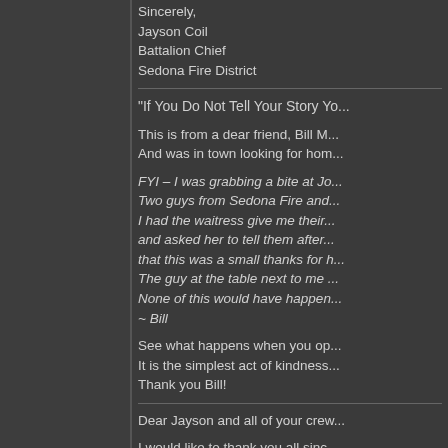Sincerely,
Jayson Coil
Battalion Chief
Sedona Fire District
“If You Do Not Tell Your Story Yo...
This is from a dear friend, Bill M...
And was in town looking for hom...
FYI – I was grabbing a bite at Jo...
Two guys from Sedona Fire and...
I had the waitress give me their...
and asked her to tell them after...
that this was a small thanks for h...
The guy at the table next to me ...
None of this would have happen...
~ Bill
See what happens when you op...
It is the simplest act of kindness...
Thank you Bill!
Dear Jayson and all of your crew...
I would like to thank you all sinc...
on the 24th January when she s...
the world wouldn’t be the same ...
that we all need her to be here w...
I only met Pam because of the h...
kind of person who spreads...